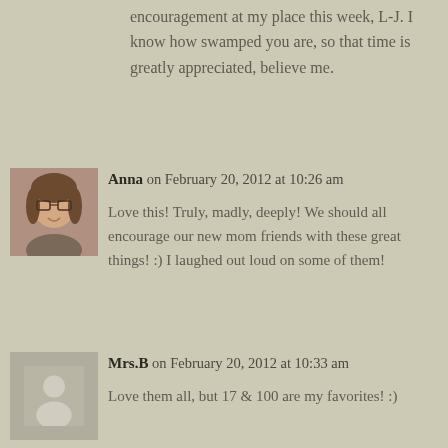encouragement at my place this week, L-J. I know how swamped you are, so that time is greatly appreciated, believe me.
[Figure (photo): Avatar photo of Anna, a woman with glasses and shoulder-length hair, smiling]
Anna on February 20, 2012 at 10:26 am
Love this! Truly, madly, deeply! We should all encourage our new mom friends with these great things! :) I laughed out loud on some of them!
[Figure (photo): Generic placeholder avatar silhouette for Mrs.B]
Mrs.B on February 20, 2012 at 10:33 am
Love them all, but 17 & 100 are my favorites! :)